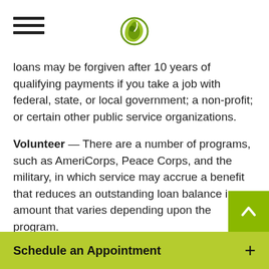[Hamburger menu icon and logo]
loans may be forgiven after 10 years of qualifying payments if you take a job with federal, state, or local government; a non-profit; or certain other public service organizations.
Volunteer — There are a number of programs, such as AmeriCorps, Peace Corps, and the military, in which service may accrue a benefit that reduces an outstanding loan balance in an amount that varies depending upon the program.
Pre-Pay Principal — Pre-payment of principal may help lower the lifetime interest costs of a loan. To raise cash to fund pre-payments, one idea is to ask that birthday and holiday gifts be cash to put toward pre-payments. You could also direct any raises, bonuses or overtime pay
Schedule an Appointment +